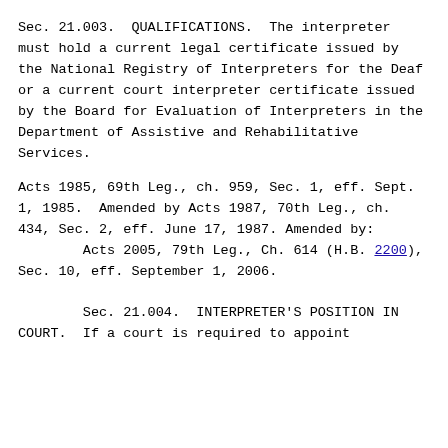Sec. 21.003.  QUALIFICATIONS.  The interpreter must hold a current legal certificate issued by the National Registry of Interpreters for the Deaf or a current court interpreter certificate issued by the Board for Evaluation of Interpreters in the Department of Assistive and Rehabilitative Services.
Acts 1985, 69th Leg., ch. 959, Sec. 1, eff. Sept. 1, 1985.  Amended by Acts 1987, 70th Leg., ch. 434, Sec. 2, eff. June 17, 1987.  Amended by:
        Acts 2005, 79th Leg., Ch. 614 (H.B. 2200), Sec. 10, eff. September 1, 2006.
Sec. 21.004.  INTERPRETER'S POSITION IN COURT.  If a court is required to appoint